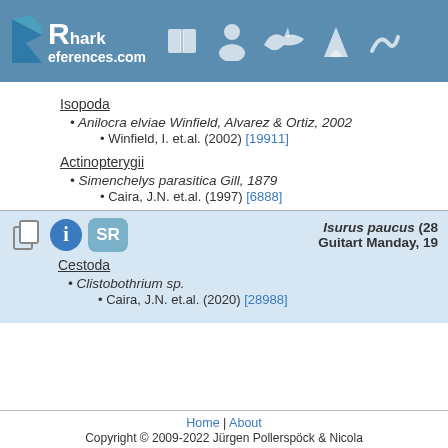SharkReferences.com
Isopoda
Anilocra elviae Winfield, Alvarez & Ortiz, 2002
Winfield, I. et.al. (2002) [19911]
Actinopterygii
Simenchelys parasitica Gill, 1879
Caira, J.N. et.al. (1997) [6888]
Isurus paucus (28 — Guitart Manday, 19
Cestoda
Clistobothrium sp.
Caira, J.N. et.al. (2020) [28988]
Home | About
Copyright © 2009-2022 Jürgen Pollerspöck & Nicola